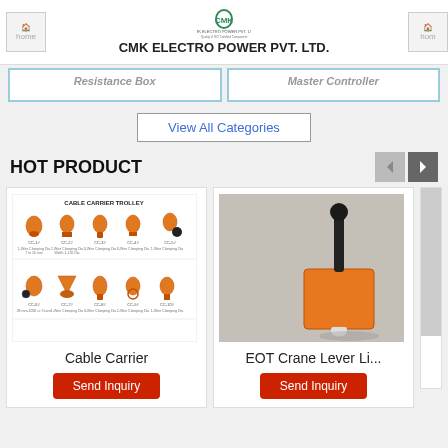CMK ELECTRO POWER PVT. LTD.
Resistance Box   Master Controller
View All Categories
HOT PRODUCT
[Figure (photo): Cable Carrier Trolley product chart showing various cable carrier trolley parts in orange color, arranged in a grid with specifications.]
Cable Carrier
Send Inquiry
[Figure (photo): EOT Crane Lever Limit Switch - orange colored device with black arm, photographed on concrete surface.]
EOT Crane Lever Li...
Send Inquiry